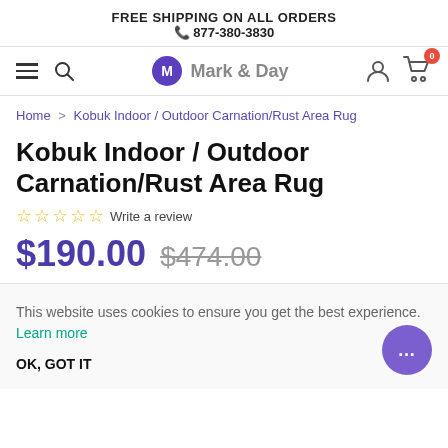FREE SHIPPING ON ALL ORDERS
📞 877-380-3830
[Figure (logo): Mark & Day logo with hamburger menu, search icon, user icon, and cart icon with badge 0]
Home > Kobuk Indoor / Outdoor Carnation/Rust Area Rug
Kobuk Indoor / Outdoor Carnation/Rust Area Rug
☆☆☆☆☆ Write a review
$190.00  $474.00
This website uses cookies to ensure you get the best experience. Learn more
OK, GOT IT